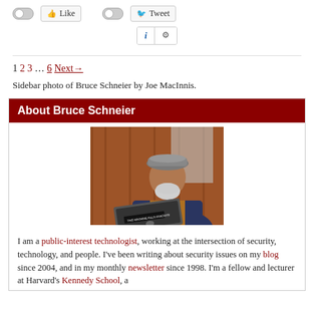[Figure (screenshot): Social share bar with toggle switches for Like and Tweet buttons, plus an info/settings widget]
1 2 3 … 6 Next→
Sidebar photo of Bruce Schneier by Joe MacInnis.
About Bruce Schneier
[Figure (photo): Photo of Bruce Schneier, a bearded man wearing a grey flat cap and blue jacket, working on a laptop with a sticker reading 'THIS MACHINE KILLS FASCISTS']
I am a public-interest technologist, working at the intersection of security, technology, and people. I've been writing about security issues on my blog since 2004, and in my monthly newsletter since 1998. I'm a fellow and lecturer at Harvard's Kennedy School, a